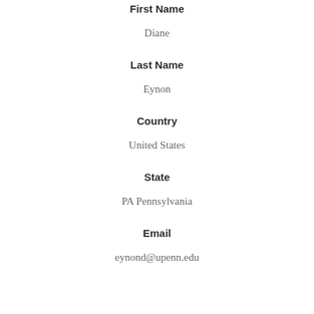First Name
Diane
Last Name
Eynon
Country
United States
State
PA Pennsylvania
Email
eynond@upenn.edu